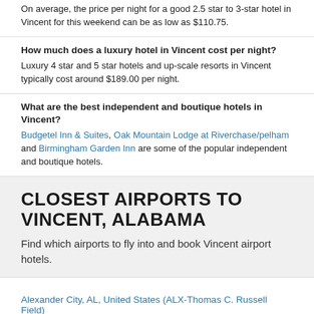On average, the price per night for a good 2.5 star to 3-star hotel in Vincent for this weekend can be as low as $110.75.
How much does a luxury hotel in Vincent cost per night?
Luxury 4 star and 5 star hotels and up-scale resorts in Vincent typically cost around $189.00 per night.
What are the best independent and boutique hotels in Vincent?
Budgetel Inn & Suites, Oak Mountain Lodge at Riverchase/pelham and Birmingham Garden Inn are some of the popular independent and boutique hotels.
CLOSEST AIRPORTS TO VINCENT, ALABAMA
Find which airports to fly into and book Vincent airport hotels.
Alexander City, AL, United States (ALX-Thomas C. Russell Field)